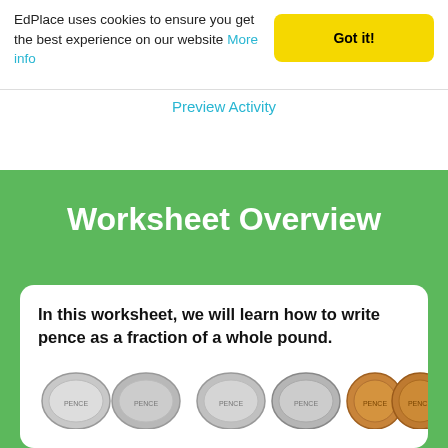EdPlace uses cookies to ensure you get the best experience on our website More info
Got it!
Preview Activity
Worksheet Overview
In this worksheet, we will learn how to write pence as a fraction of a whole pound.
[Figure (photo): Row of British coins including silver and copper pence coins at the bottom of the card]